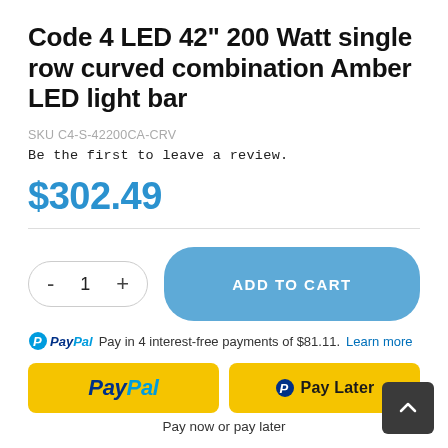Code 4 LED 42" 200 Watt single row curved combination Amber LED light bar
SKU C4-S-42200CA-CRV
Be the first to leave a review.
$302.49
[Figure (screenshot): Quantity selector with minus and plus buttons showing value 1, and Add to Cart button in blue]
Pay in 4 interest-free payments of $81.11. Learn more
[Figure (screenshot): PayPal and Pay Later payment buttons in yellow, with text 'Pay now or pay later']